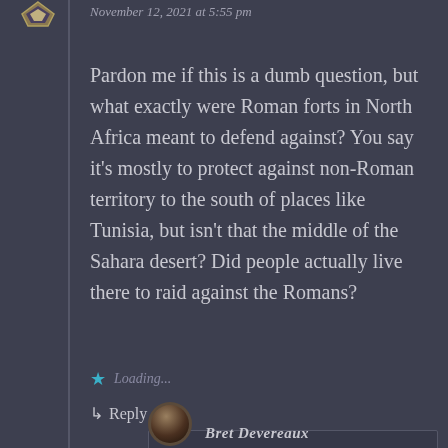November 12, 2021 at 5:55 pm
Pardon me if this is a dumb question, but what exactly were Roman forts in North Africa meant to defend against? You say it’s mostly to protect against non-Roman territory to the south of places like Tunisia, but isn’t that the middle of the Sahara desert? Did people actually live there to raid against the Romans?
Loading...
Reply
Bret Devereaux